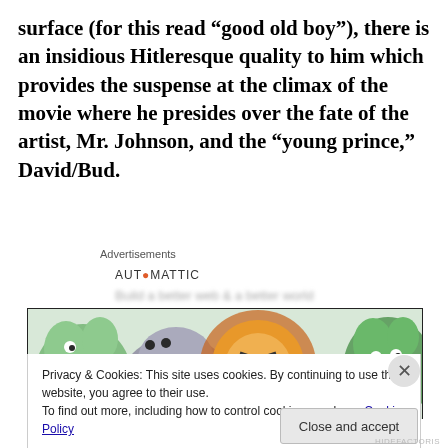surface (for this read “good old boy”), there is an insidious Hitleresque quality to him which provides the suspense at the climax of the movie where he presides over the fate of the artist, Mr. Johnson, and the “young prince,” David/Bud.
Advertisements
AUTOMATTIC
[Figure (illustration): Cartoon illustration showing animated animal characters including what appears to be a green creature, an elephant, a fierce lion with orange mane, and a green monster/creature on the right, against a light background.]
Privacy & Cookies: This site uses cookies. By continuing to use this website, you agree to their use.
To find out more, including how to control cookies, see here: Cookie Policy